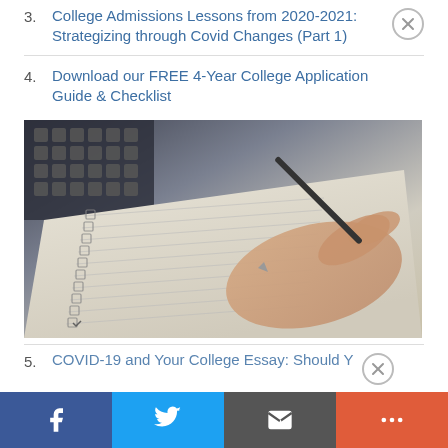3. College Admissions Lessons from 2020-2021: Strategizing through Covid Changes (Part 1)
4. Download our FREE 4-Year College Application Guide & Checklist
[Figure (photo): A hand holding a pen writing on a checklist in a spiral notebook, photographed from above at an angle, with a blurred background showing a keyboard.]
5. COVID-19 and Your College Essay: Should Y...
Facebook | Twitter | Email | More